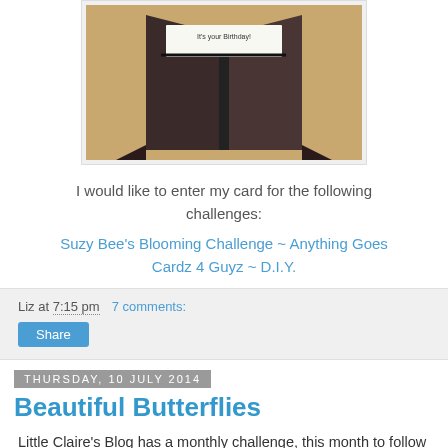[Figure (photo): A 3D birthday card standing open on a wooden surface, dark colored card with 'It's your birthday!' text visible inside]
I would like to enter my card for the following challenges:
Suzy Bee's Blooming Challenge ~ Anything Goes
Cardz 4 Guyz ~ D.I.Y.
Liz at 7:15 pm    7 comments:
Share
Thursday, 10 July 2014
Beautiful Butterflies
Little Claire's Blog has a monthly challenge, this month to follow a sketch with the theme of 'Bright and Beautiful' then their Butterfly Tournament for...